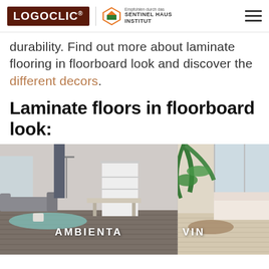LOGOCLIC® | Empfohlen durch das SENTINEL HAUS INSTITUT
durability. Find out more about laminate flooring in floorboard look and discover the different decors.
Laminate floors in floorboard look:
[Figure (photo): Interior room scene showing laminate flooring in floorboard look with label AMBIENTA]
[Figure (photo): Bright living room scene showing laminate flooring with partial label VIN...]